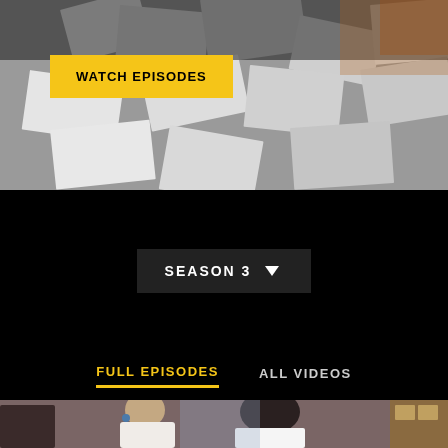[Figure (screenshot): Hero banner image showing scattered papers/documents from above, with dark overlay. Yellow 'WATCH EPISODES' button overlay in upper left area.]
WATCH EPISODES
[Figure (screenshot): Black background section with a dark rectangular dropdown button reading 'SEASON 3' with a downward arrow triangle.]
SEASON 3
FULL EPISODES
ALL VIDEOS
[Figure (screenshot): TV show scene thumbnail showing two people in a domestic setting, one laughing woman and one person with spiky dark hair looking down, vintage/retro interior background.]